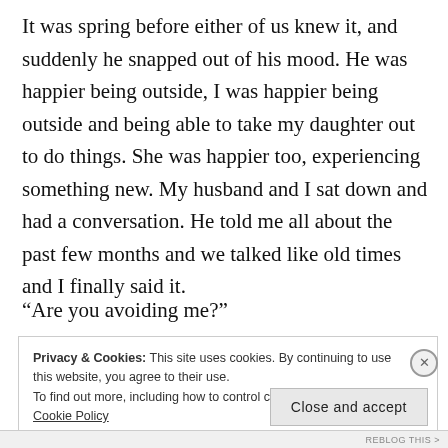It was spring before either of us knew it, and suddenly he snapped out of his mood. He was happier being outside, I was happier being outside and being able to take my daughter out to do things. She was happier too, experiencing something new. My husband and I sat down and had a conversation. He told me all about the past few months and we talked like old times and I finally said it.
“Are you avoiding me?”
Privacy & Cookies: This site uses cookies. By continuing to use this website, you agree to their use.
To find out more, including how to control cookies, see here: Cookie Policy
Close and accept